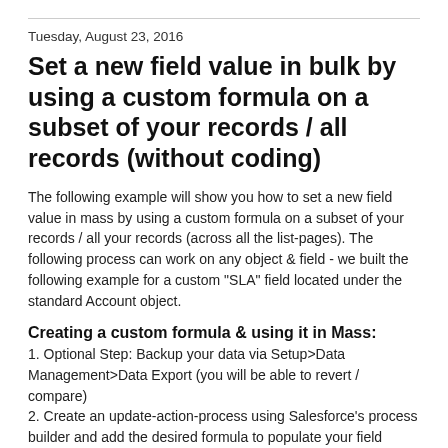Tuesday, August 23, 2016
Set a new field value in bulk by using a custom formula on a subset of your records / all records (without coding)
The following example will show you how to set a new field value in mass by using a custom formula on a subset of your records / all your records (across all the list-pages). The following process can work on any object & field - we built the following example for a custom "SLA" field located under the standard Account object.
Creating a custom formula & using it in Mass:
1. Optional Step: Backup your data via Setup>Data Management>Data Export (you will be able to revert / compare)
2. Create an update-action-process using Salesforce's process builder and add the desired formula to populate your field (setup>create>Workflow & Approvals>Process